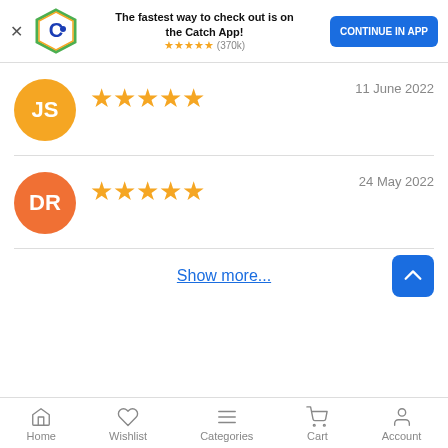[Figure (screenshot): Catch app promotional banner with logo, text 'The fastest way to check out is on the Catch App!', star rating (370k), and 'CONTINUE IN APP' button]
11 June 2022
[Figure (infographic): User avatar circle with initials JS (yellow/orange), followed by 5 gold stars rating]
24 May 2022
[Figure (infographic): User avatar circle with initials DR (orange), followed by 5 gold stars rating]
Show more...
Home  Wishlist  Categories  Cart  Account